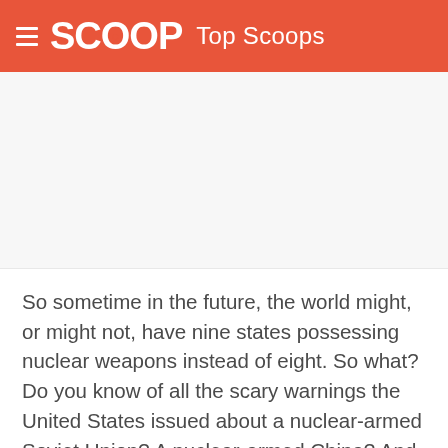SCOOP Top Scoops
[Figure (other): Advertisement or blank content area below the navigation header]
So sometime in the future, the world might, or might not, have nine states possessing nuclear weapons instead of eight. So what? Do you know of all the scary warnings the United States issued about a nuclear-armed Soviet Union? A nuclear-armed China? And the non-warnings about a nuclear-armed Israel? There